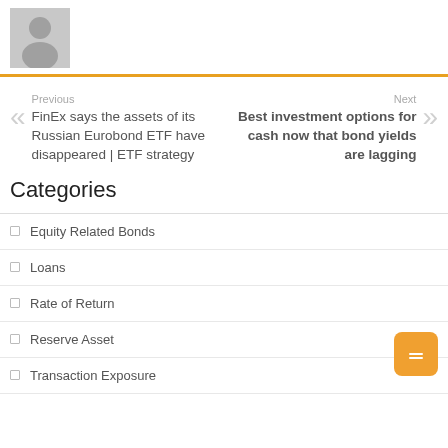[Figure (illustration): Grey avatar silhouette placeholder image]
Previous
FinEx says the assets of its Russian Eurobond ETF have disappeared | ETF strategy
Next
Best investment options for cash now that bond yields are lagging
Categories
Equity Related Bonds
Loans
Rate of Return
Reserve Asset
Transaction Exposure